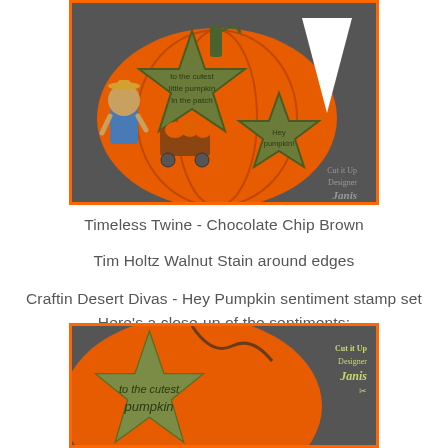[Figure (photo): Photo of a handmade pumpkin-shaped card/decoration with orange pumpkin body, green star-shaped tags with sentiments, a bear character with a cart full of pumpkins, white triangular shape, on a dark background. Watermark reads 'Cut it Up Designer Janis' with scissors icon.]
Timeless Twine - Chocolate Chip Brown
Tim Holtz Walnut Stain around edges
Craftin Desert Divas - Hey Pumpkin sentiment stamp set
Here's a close-up of the sentiments:
[Figure (photo): Close-up photo of a green star-shaped tag with text 'to the cutest pumpkin' on an orange and dark background. Watermark reads 'Cut it Up Designer Janis' with scissors icon in yellow-green.]